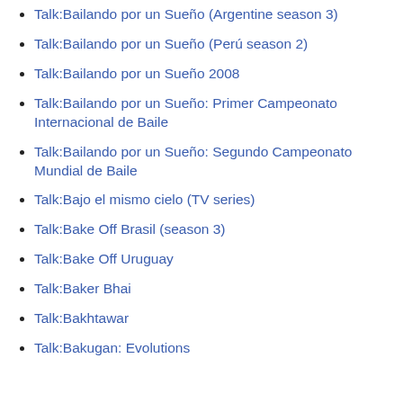Talk:Bailando por un Sueño (Argentine season 3)
Talk:Bailando por un Sueño (Perú season 2)
Talk:Bailando por un Sueño 2008
Talk:Bailando por un Sueño: Primer Campeonato Internacional de Baile
Talk:Bailando por un Sueño: Segundo Campeonato Mundial de Baile
Talk:Bajo el mismo cielo (TV series)
Talk:Bake Off Brasil (season 3)
Talk:Bake Off Uruguay
Talk:Baker Bhai
Talk:Bakhtawar
Talk:Bakugan: Evolutions